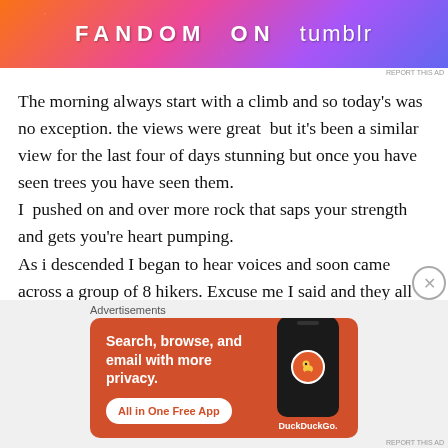[Figure (illustration): Tumblr 'Fandom on Tumblr' advertisement banner with colorful gradient background (orange, pink, purple) and decorative musical/nature elements. White bold text reads 'FANDOM ON tumblr'.]
REPORT THIS AD
The morning always start with a climb and so today's was no exception. the views were great  but it's been a similar view for the last four of days stunning but once you have seen trees you have seen them.
I  pushed on and over more rock that saps your strength and gets you're heart pumping.
As i descended I began to hear voices and soon came across a group of 8 hikers. Excuse me I said and they all stood aside to let me through. Thank you.
Advertisements
[Figure (illustration): DuckDuckGo advertisement on orange/red background. Text: 'Search, browse, and email with more privacy. All in One Free App'. Shows a smartphone mockup with the DuckDuckGo logo (duck icon in orange circle) and 'DuckDuckGo.' text below the phone.]
REPORT THIS AD